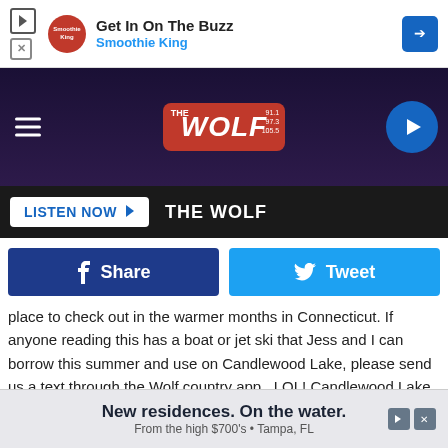[Figure (screenshot): Smoothie King advertisement banner with play and X icons, Smoothie King logo, text 'Get In On The Buzz' and 'Smoothie King', and a blue arrow icon on the right]
[Figure (screenshot): The Wolf radio station navigation bar with hamburger menu on left, The Wolf logo in center, and blue play circle button on right, on dark purple background]
[Figure (screenshot): Listen Now bar with white button and THE WOLF label on dark background]
[Figure (screenshot): Social sharing bar with dark blue Facebook Share button and light blue Twitter Tweet button]
place to check out in the warmer months in Connecticut. If anyone reading this has a boat or jet ski that Jess and I can borrow this summer and use on Candlewood Lake, please send us a text through the Wolf country app...LOL! Candlewood Lake is on our list of things we need to check out in 2022.
American Pie Company
[Figure (screenshot): Bottom advertisement: 'New residences. On the water. From the high $700's • Tampa, FL']